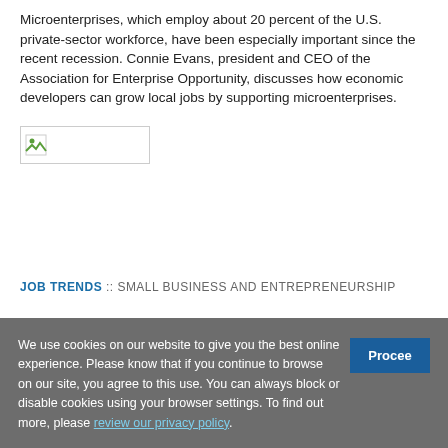Microenterprises, which employ about 20 percent of the U.S. private-sector workforce, have been especially important since the recent recession. Connie Evans, president and CEO of the Association for Enterprise Opportunity, discusses how economic developers can grow local jobs by supporting microenterprises.
[Figure (photo): Small image placeholder with a broken image icon]
JOB TRENDS :: SMALL BUSINESS AND ENTREPRENEURSHIP
We use cookies on our website to give you the best online experience. Please know that if you continue to browse on our site, you agree to this use. You can always block or disable cookies using your browser settings. To find out more, please review our privacy policy.